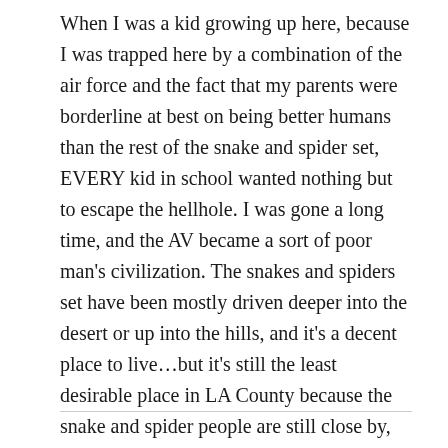When I was a kid growing up here, because I was trapped here by a combination of the air force and the fact that my parents were borderline at best on being better humans than the rest of the snake and spider set, EVERY kid in school wanted nothing but to escape the hellhole. I was gone a long time, and the AV became a sort of poor man's civilization. The snakes and spiders set have been mostly driven deeper into the desert or up into the hills, and it's a decent place to live…but it's still the least desirable place in LA County because the snake and spider people are still close by, and clinging to their old haunt.